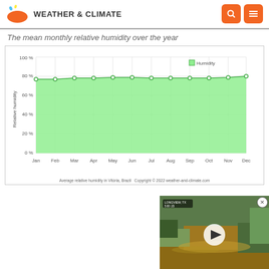WEATHER & CLIMATE
The mean monthly relative humidity over the year
[Figure (area-chart): Average relative humidity in Vitória, Brazil]
Average relative humidity in Vitória, Brazil   Copyright © 2022  weather-and-climate.com
[Figure (screenshot): Video thumbnail showing flood scene in Longview, TX with play button overlay]